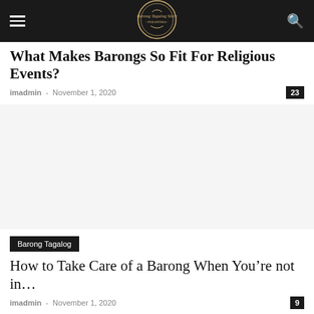Barong Tagalog Store [logo]
What Makes Barongs So Fit For Religious Events?
imadmin - November 1, 2020 | 23
[Figure (photo): Blank/white image placeholder for article about barongs for religious events]
Barong Tagalog
How to Take Care of a Barong When You're not in...
imadmin - November 1, 2020 | 9